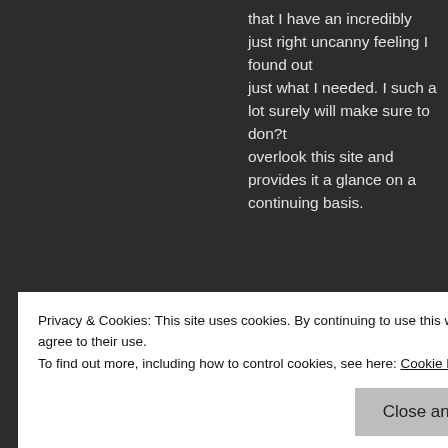that I have an incredibly just right uncanny feeling I found out just what I needed. I such a lot surely will make sure to don?t overlook this site and provides it a glance on a continuing basis.
Reply
[Figure (screenshot): P2 advertisement banner: logo showing a square icon and 'P2' text, with bold text 'Getting your team on the same page is easy. And free.']
REPORT THIS AD
[Figure (illustration): Red and white pixel-art style avatar icon for Cetak Sticker Bandung]
Cetak Sticker Bandung says:
Privacy & Cookies: This site uses cookies. By continuing to use this website, you agree to their use.
To find out more, including how to control cookies, see here: Cookie Policy
Close and accept